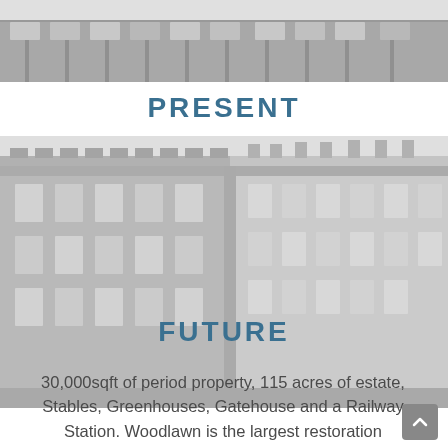[Figure (photo): Black and white photograph of a historic building facade, showing ornate stonework and windows, cropped to show the upper portion.]
PRESENT
[Figure (photo): Black and white photograph of a large historic building exterior, showing the corner of an ornate multi-storey building with decorative stonework, columns and cornice details.]
FUTURE
30,000sqft of period property, 115 acres of estate, Stables, Greenhouses, Gatehouse and a Railway Station. Woodlawn is the largest restoration project with the biggest